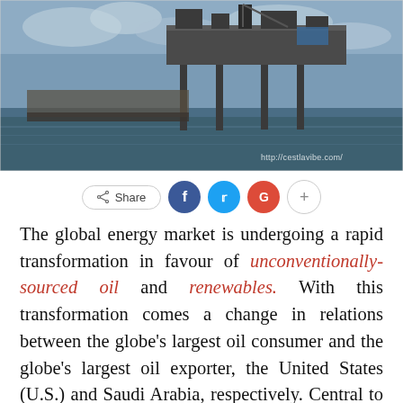[Figure (photo): Offshore oil platform/rig on calm water with cloudy sky, watermark 'http://cestlavibe.com/' in lower right]
Share (social share buttons: Facebook, Twitter, Google+, plus)
The global energy market is undergoing a rapid transformation in favour of unconventionally-sourced oil and renewables. With this transformation comes a change in relations between the globe's largest oil consumer and the globe's largest oil exporter, the United States (U.S.) and Saudi Arabia, respectively. Central to discussions concerning the future of the U.S.'s position in the global energy market is the fate of